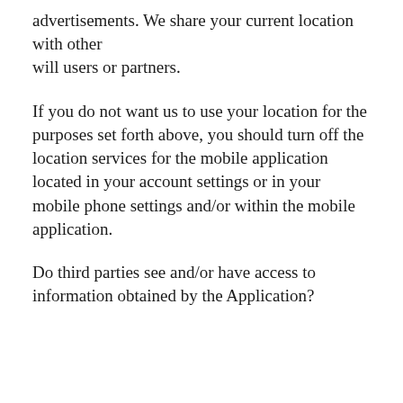advertisements. We share your current location with other will users or partners.
If you do not want us to use your location for the purposes set forth above, you should turn off the location services for the mobile application located in your account settings or in your mobile phone settings and/or within the mobile application.
Do third parties see and/or have access to information obtained by the Application?